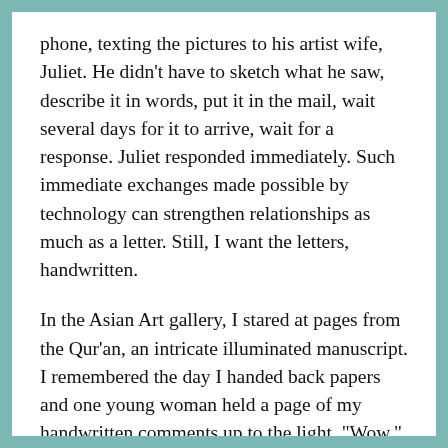phone, texting the pictures to his artist wife, Juliet. He didn't have to sketch what he saw, describe it in words, put it in the mail, wait several days for it to arrive, wait for a response. Juliet responded immediately. Such immediate exchanges made possible by technology can strengthen relationships as much as a letter. Still, I want the letters, handwritten.
In the Asian Art gallery, I stared at pages from the Qur'an, an intricate illuminated manuscript. I remembered the day I handed back papers and one young woman held a page of my handwritten comments up to the light. "Wow," she said, "your writing is beautiful. It looks like Arabic script." I wish.